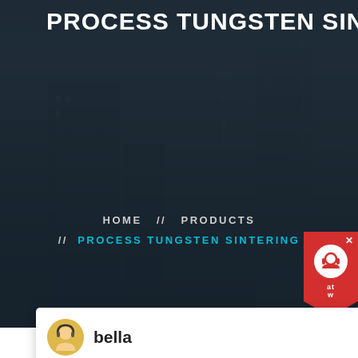PROCESS TUNGSTEN SINTERING
HOME // PRODUCTS // PROCESS TUNGSTEN SINTERING
[Figure (screenshot): Chat popup from Liming Heavy Industry website showing avatar of 'bella' and welcome message]
bella
Welcome to Liming Heavy Industry! Now our on-line service is chatting with you! please choose: 1.English
Latest Projects
[Figure (photo): Industrial machinery/equipment photo showing conveyors and industrial infrastructure]